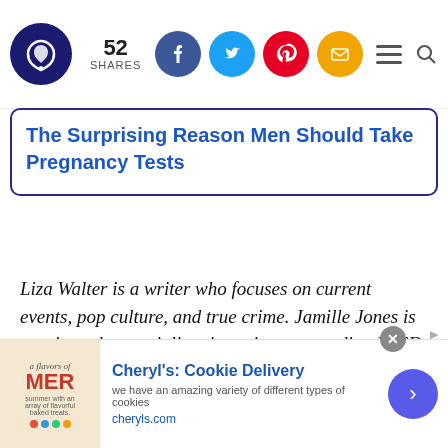52 SHARES [social share buttons: Facebook, Twitter, Pinterest, Email] [hamburger menu] [search icon]
The Surprising Reason Men Should Take Pregnancy Tests
Liza Walter is a writer who focuses on current events, pop culture, and true crime. Jamille Jones is a writer who specializes in topics surrounding PTSD.
[Figure (screenshot): Advertisement banner for Cheryl's: Cookie Delivery — 'we have an amazing variety of different types of cookies' — cheryls.com, with cookie product image on left and arrow button on right]